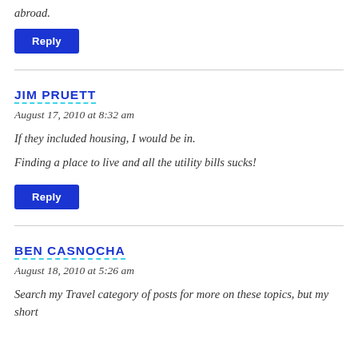abroad.
Reply
JIM PRUETT
August 17, 2010 at 8:32 am
If they included housing, I would be in.
Finding a place to live and all the utility bills sucks!
Reply
BEN CASNOCHA
August 18, 2010 at 5:26 am
Search my Travel category of posts for more on these topics, but my short